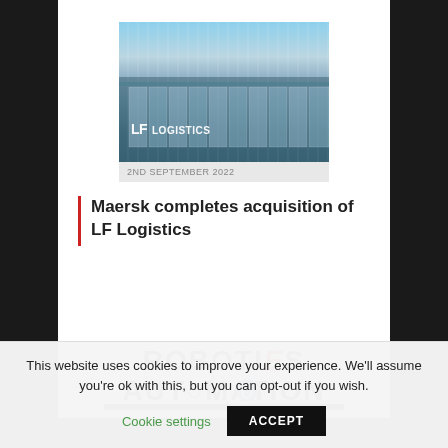[Figure (photo): Aerial or exterior photo of an LF Logistics warehouse building with glass facade and logo]
2ND SEPTEMBER 2022
Maersk completes acquisition of LF Logistics
[Figure (logo): Robotics and Automation logo with stylized letters and a black bar below]
This website uses cookies to improve your experience. We'll assume you're ok with this, but you can opt-out if you wish.
Cookie settings
ACCEPT